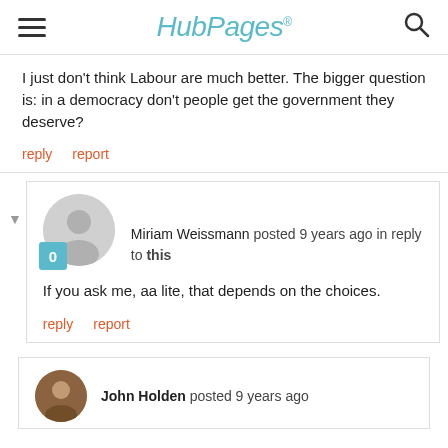HubPages
I just don't think Labour are much better.  The bigger question is: in a democracy don't people get the government they deserve?
reply   report
Miriam Weissmann posted 9 years ago in reply to this
If you ask me, aa lite, that depends on the choices.
reply   report
John Holden posted 9 years ago